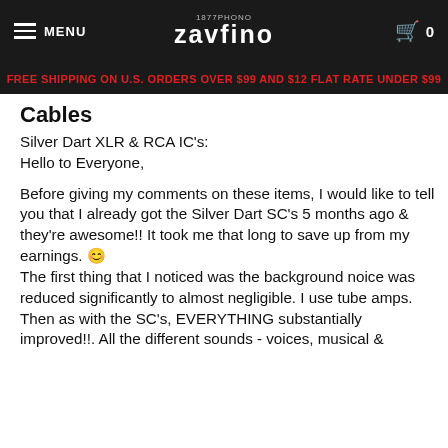MENU | Zavfino | 0
FREE SHIPPING ON U.S. ORDERS OVER $99 AND $12 FLAT RATE UNDER $99
Cables
Silver Dart XLR & RCA IC's:
Hello to Everyone,

Before giving my comments on these items, I would like to tell you that I already got the Silver Dart SC's 5 months ago & they're awesome!! It took me that long to save up from my earnings. 😊
The first thing that I noticed was the background noice was reduced significantly to almost negligible. I use tube amps. Then as with the SC's, EVERYTHING substantially improved!!. All the different sounds - voices, musical &